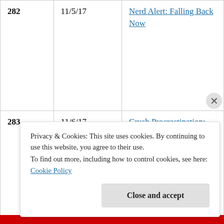| # | Date | Title |
| --- | --- | --- |
| 282 | 11/5/17 | Nerd Alert: Falling Back Now |
| 283 | 11/6/17 | Crush Procrastination: Working on it |
| 284 | 11/7/17 | Yawn… this time change |
|  |  |  |
Privacy & Cookies: This site uses cookies. By continuing to use this website, you agree to their use.
To find out more, including how to control cookies, see here:
Cookie Policy